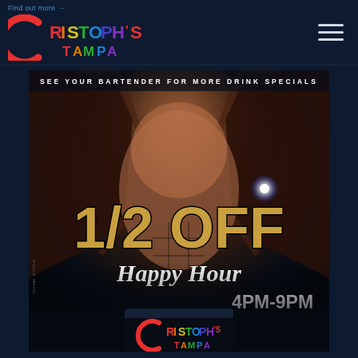Find out more >
[Figure (logo): Cristoph's Tampa rainbow logo in header]
[Figure (photo): Promotional graphic for Cristoph's Tampa Happy Hour. Shows a muscular man opening a leather jacket with large text reading '1/2 OFF Happy Hour 4PM-9PM' overlaid. Top text reads 'SEE YOUR BARTENDER FOR MORE DRINK SPECIALS'. Bottom shows Cristoph's Tampa logo.]